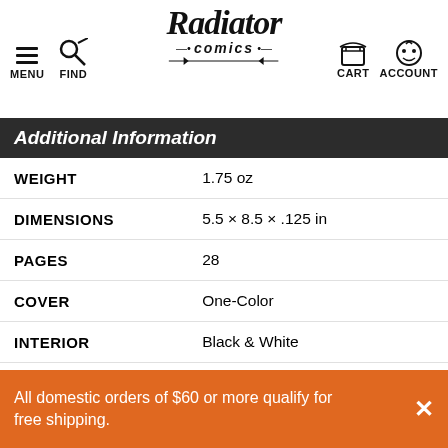MENU FIND [Radiator Comics logo] CART ACCOUNT
Additional Information
|  |  |
| --- | --- |
| WEIGHT | 1.75 oz |
| DIMENSIONS | 5.5 × 8.5 × .125 in |
| PAGES | 28 |
| COVER | One-Color |
| INTERIOR | Black & White |
| BINDING | Saddle Stitch |
| RETAIL PRICE | Not printed on book |
All domestic orders of $60 or more qualify for free shipping.